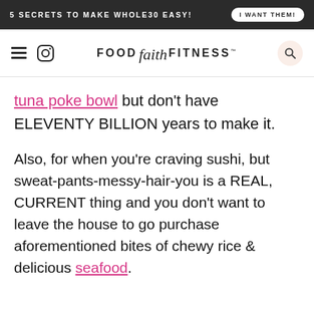5 SECRETS TO MAKE WHOLE30 EASY! | I WANT THEM!
FOOD faith FITNESS™
tuna poke bowl but don't have ELEVENTY BILLION years to make it.
Also, for when you're craving sushi, but sweat-pants-messy-hair-you is a REAL, CURRENT thing and you don't want to leave the house to go purchase aforementioned bites of chewy rice & delicious seafood.